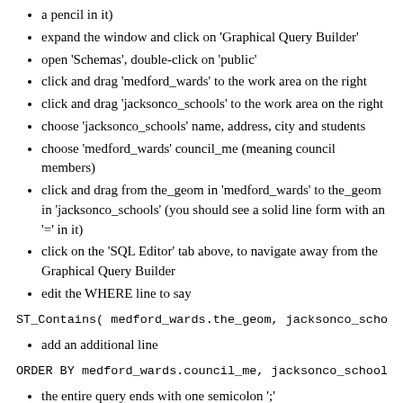a pencil in it)
expand the window and click on 'Graphical Query Builder'
open 'Schemas', double-click on 'public'
click and drag 'medford_wards' to the work area on the right
click and drag 'jacksonco_schools' to the work area on the right
choose 'jacksonco_schools' name, address, city and students
choose 'medford_wards' council_me (meaning council members)
click and drag from the_geom in 'medford_wards' to the_geom in 'jacksonco_schools' (you should see a solid line form with an '=' in it)
click on the 'SQL Editor' tab above, to navigate away from the Graphical Query Builder
edit the WHERE line to say
ST_Contains( medford_wards.the_geom, jacksonco_schools.t
add an additional line
ORDER BY medford_wards.council_me, jacksonco_schools.stu
the entire query ends with one semicolon ';'
click on the 'execute query' icon above (a green triangle pointing to the right) you should see a list of council districts, schools, school sizes and the names of council